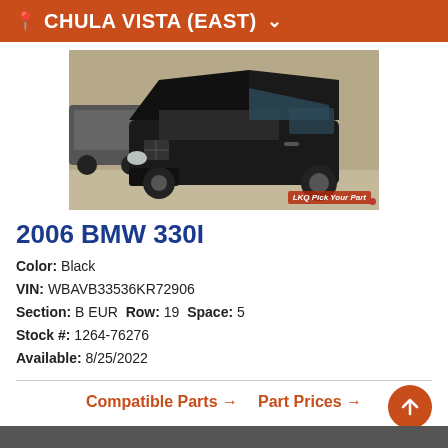CHULA VISTA (EAST)
[Figure (photo): Black 2006 BMW 330i with hood open at a salvage yard. LKQ Pick Your Part watermark visible.]
2006 BMW 330I
Color: Black
VIN: WBAVB33536KR72906
Section: B EUR  Row: 19  Space: 5
Stock #: 1264-76276
Available: 8/25/2022
Compatible Parts → Part Prices →